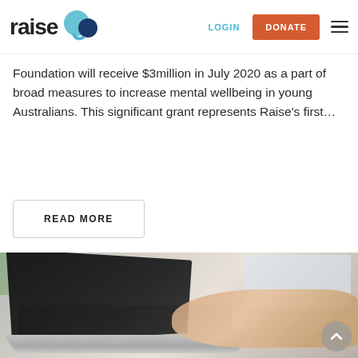Raise Foundation — LOGIN | DONATE
Foundation will receive $3million in July 2020 as a part of broad measures to increase mental wellbeing in young Australians. This significant grant represents Raise's first…
READ MORE
[Figure (photo): Person typing on a laptop computer, hands on keyboard, window in background, plant partially visible on left. Laptop screen is dark/off. Warm neutral tones.]